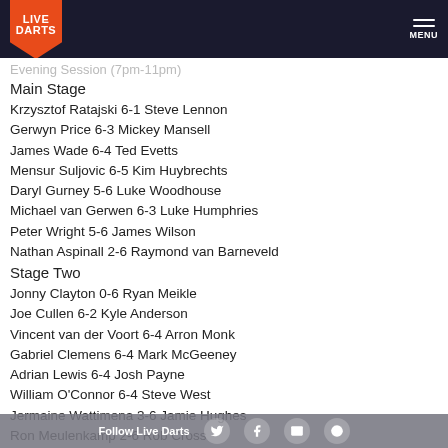Live Darts — MENU
Evening Session (7pm-11pm)
Main Stage
Krzysztof Ratajski 6-1 Steve Lennon
Gerwyn Price 6-3 Mickey Mansell
James Wade 6-4 Ted Evetts
Mensur Suljovic 6-5 Kim Huybrechts
Daryl Gurney 5-6 Luke Woodhouse
Michael van Gerwen 6-3 Luke Humphries
Peter Wright 5-6 James Wilson
Nathan Aspinall 2-6 Raymond van Barneveld
Stage Two
Jonny Clayton 0-6 Ryan Meikle
Joe Cullen 6-2 Kyle Anderson
Vincent van der Voort 6-4 Arron Monk
Gabriel Clemens 6-4 Mark McGeeney
Adrian Lewis 6-4 Josh Payne
William O'Connor 6-4 Steve West
Jermaine Wattimena 3-6 Jamie Hughes
Ron Meulenkamp 2-6 Rob Cross
Saturday N
Follow Live Darts